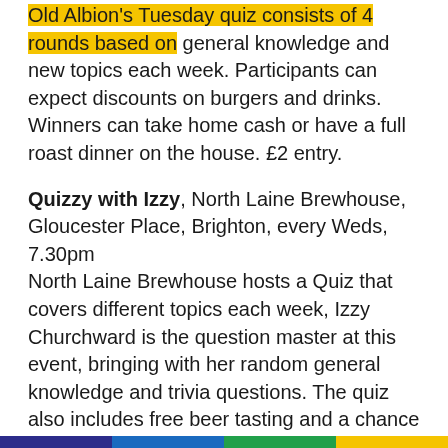Old Albion's Tuesday quiz consists of 4 rounds based on general knowledge and new topics each week. Participants can expect discounts on burgers and drinks. Winners can take home cash or have a full roast dinner on the house. £2 entry.
Quizzy with Izzy, North Laine Brewhouse, Gloucester Place, Brighton, every Weds, 7.30pm
North Laine Brewhouse hosts a Quiz that covers different topics each week, Izzy Churchward is the question master at this event, bringing with her random general knowledge and trivia questions. The quiz also includes free beer tasting and a chance to win over £1000!
The Quiz Station, The Station, Goldstone Villas, Hove, every Weds, 9pm
Book a table: 01273 733660
The Quiz Station is one of the most popular quizzes in Hove, so much so that those competing will need to book in advance. If you think that you have what it takes for the quiz, make sure